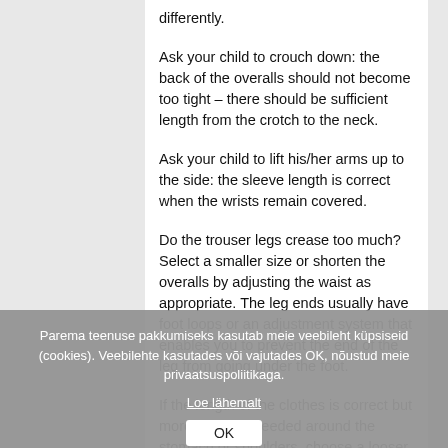differently.
Ask your child to crouch down: the back of the overalls should not become too tight – there should be sufficient length from the crotch to the neck.
Ask your child to lift his/her arms up to the side: the sleeve length is correct when the wrists remain covered.
Do the trouser legs crease too much? Select a smaller size or shorten the overalls by adjusting the waist as appropriate. The leg ends usually have foot loops or an adjustment system that enables you to prevent the end of the leg from going under the foot.
If the length of the clothes is correct but more space is needed around the stomach or shoulders, choose a looser cut or larger size.
Parema teenuse pakkumiseks kasutab meie veebileht küpsiseid (cookies). Veebilehte kasutades või vajutades OK, nõustud meie privaatsuspoliitikaga.
Loe lähemalt
OK